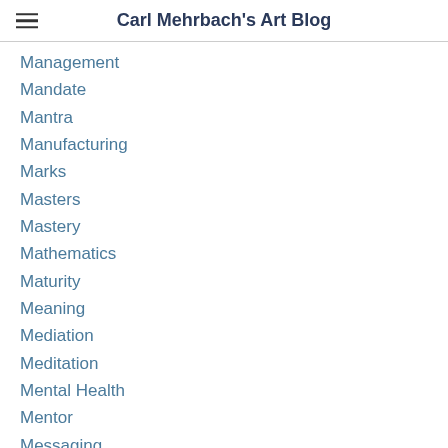Carl Mehrbach's Art Blog
Management
Mandate
Mantra
Manufacturing
Marks
Masters
Mastery
Mathematics
Maturity
Meaning
Mediation
Meditation
Mental Health
Mentor
Messaging
Metaphor
Metaphysics
Methodology